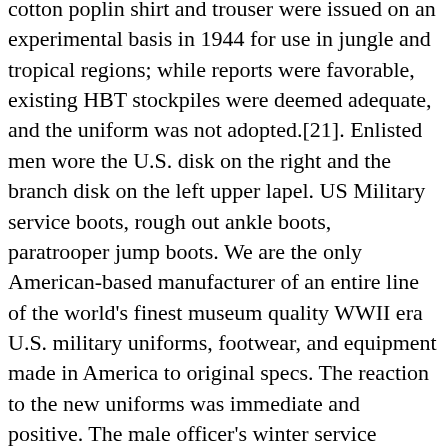cotton poplin shirt and trouser were issued on an experimental basis in 1944 for use in jungle and tropical regions; while reports were favorable, existing HBT stockpiles were deemed adequate, and the uniform was not adopted.[21]. Enlisted men wore the U.S. disk on the right and the branch disk on the left upper lapel. US Military service boots, rough out ankle boots, paratrooper jump boots. We are the only American-based manufacturer of an entire line of the world's finest museum quality WWII era U.S. military uniforms, footwear, and equipment made in America to original specs. The reaction to the new uniforms was immediate and positive. The male officer's winter service uniform in 1941 consisted of a four-button, four-pocket coat of finer wool fabric in olive drab shade no. Quality M41 jackets, M1942 jump suits, tanker jackets, HBT jackets,